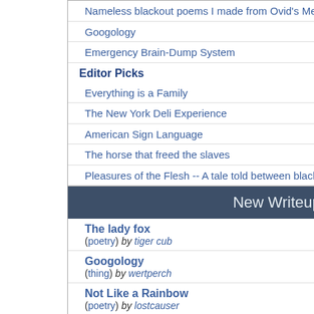Nameless blackout poems I made from Ovid's Metamorphosis
Googology
Emergency Brain-Dump System
Editor Picks
Everything is a Family
The New York Deli Experience
American Sign Language
The horse that freed the slaves
Pleasures of the Flesh -- A tale told between blackouts
emotional abuse
New Writeups
The lady fox (poetry) by tiger cub
Googology (thing) by wertperch
Not Like a Rainbow (poetry) by lostcauser
Marks (poetry) by losthuskie
August 14, 2022 (log) by andycyca
web (poetry) by lostcauser
Star Goose